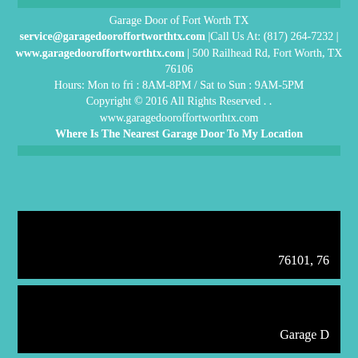Garage Door Cable Replacement
Emergency Garage Door Service
Replacement Garage Door Panels
Garage Door Repairs
Residential Garage Doors
Commercial Garage Doors
[Figure (screenshot): Black map or image block showing partial text '76101, 76' at lower right]
[Figure (screenshot): Black image block showing partial text 'Garage D' at lower right]
Garage Door of Fort Worth TX
service@garagedooroffortworthtx.com |Call Us At: (817) 264-7232 |
www.garagedooroffortworthtx.com | 500 Railhead Rd, Fort Worth, TX 76106
Hours: Mon to fri : 8AM-8PM / Sat to Sun : 9AM-5PM
Copyright © 2016 All Rights Reserved . .
www.garagedooroffortworthtx.com
Where Is The Nearest Garage Door To My Location